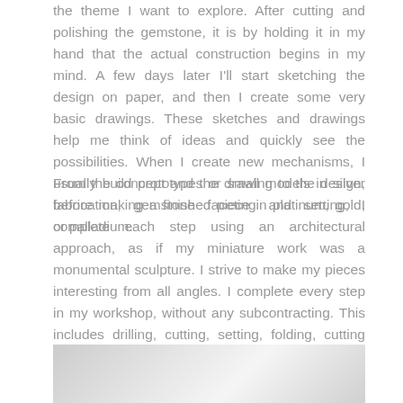the theme I want to explore. After cutting and polishing the gemstone, it is by holding it in my hand that the actual construction begins in my mind. A few days later I'll start sketching the design on paper, and then I create some very basic drawings. These sketches and drawings help me think of ideas and quickly see the possibilities. When I create new mechanisms, I usually build prototypes or small models in silver before making a finished piece in platinum, gold, or palladium.
From the concept and the drawing to the design, fabrication, gemstone faceting and setting, I complete each step using an architectural approach, as if my miniature work was a monumental sculpture. I strive to make my pieces interesting from all angles. I complete every step in my workshop, without any subcontracting. This includes drilling, cutting, setting, folding, cutting and faceting of gemstones, surface textures, spinning, granulation, and soldering techniques. With an architectural approach, each piece requires more than 100 solder points and exists in only one copy.
[Figure (photo): A partially visible photograph with a metallic/silver gradient background, likely showing a jewelry piece or workshop scene.]